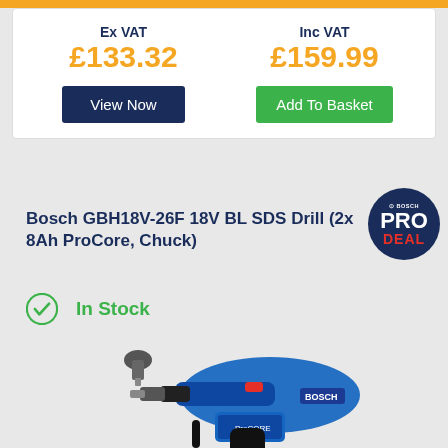| Ex VAT | Inc VAT |
| --- | --- |
| £133.32 | £159.99 |
View Now
Add To Basket
Bosch GBH18V-26F 18V BL SDS Drill (2x 8Ah ProCore, Chuck)
In Stock
[Figure (photo): Bosch GBH18V-26F 18V BL SDS Drill with chuck attachment, shown in blue and black with red accent, ProCore battery]